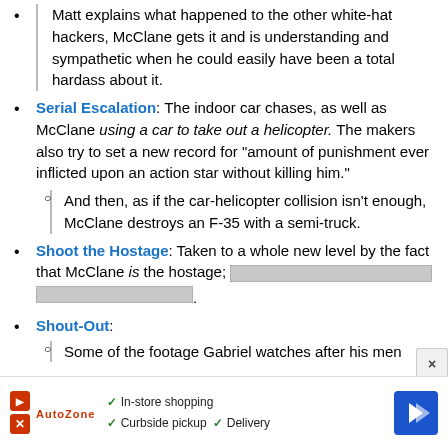McClane gets it and is understanding and sympathetic when he could easily have been a total hardass about it.
Serial Escalation: The indoor car chases, as well as McClane using a car to take out a helicopter. The makers also try to set a new record for "amount of punishment ever inflicted upon an action star without killing him."
And then, as if the car-helicopter collision isn't enough, McClane destroys an F-35 with a semi-truck.
Shoot the Hostage: Taken to a whole new level by the fact that McClane is the hostage; [spoiler] .
Shout-Out:
Some of the footage Gabriel watches after his men
[Figure (screenshot): Advertisement bar at bottom: AutoZone logo with play/cancel buttons, checkmarks for In-store shopping, Curbside pickup, Delivery, and a blue navigation arrow icon.]